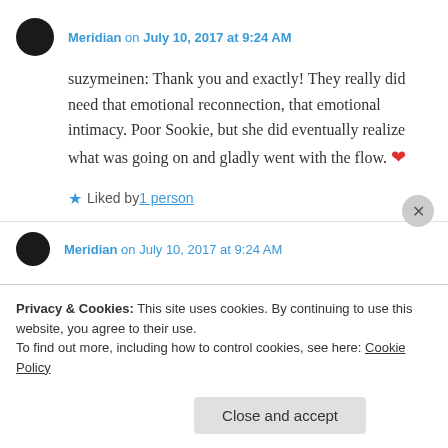Meridian on July 10, 2017 at 9:24 AM
suzymeinen: Thank you and exactly! They really did need that emotional reconnection, that emotional intimacy. Poor Sookie, but she did eventually realize what was going on and gladly went with the flow. ❤
★ Liked by 1 person
Meridian on July 10, 2017 at 9:24 AM
Privacy & Cookies: This site uses cookies. By continuing to use this website, you agree to their use. To find out more, including how to control cookies, see here: Cookie Policy
Close and accept